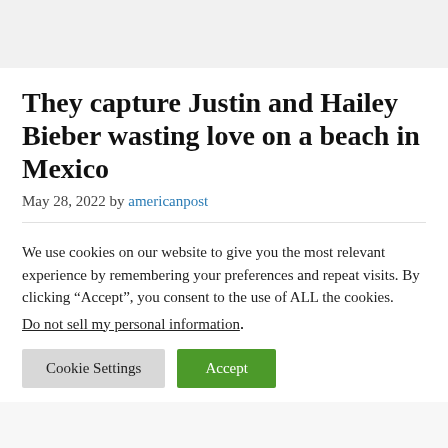They capture Justin and Hailey Bieber wasting love on a beach in Mexico
May 28, 2022 by americanpost
We use cookies on our website to give you the most relevant experience by remembering your preferences and repeat visits. By clicking “Accept”, you consent to the use of ALL the cookies.
Do not sell my personal information.